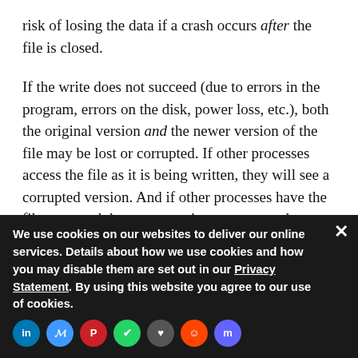risk of losing the data if a crash occurs after the file is closed.
If the write does not succeed (due to errors in the program, errors on the disk, power loss, etc.), both the original version and the newer version of the file may be lost or corrupted. If other processes access the file as it is being written, they will see a corrupted version. And if other processes have the file open and do not expect its contents to change–e.g., a shared library mapped into multiple running programs–they may crash.
To avoid these issues, some programmers avoid...
a new file, close b...
We use cookies on our websites to deliver our online services. Details about how we use cookies and how you may disable them are set out in our Privacy Statement. By using this website you agree to our use of cookies.